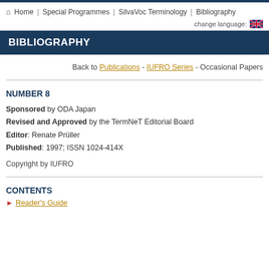Home | Special Programmes | SilvaVoc Terminology | Bibliography
BIBLIOGRAPHY
Back to Publications - IUFRO Series - Occasional Papers
NUMBER 8
Sponsored by ODA Japan
Revised and Approved by the TermNeT Editorial Board
Editor: Renate Prüller
Published: 1997; ISSN 1024-414X

Copyright by IUFRO
CONTENTS
Reader's Guide